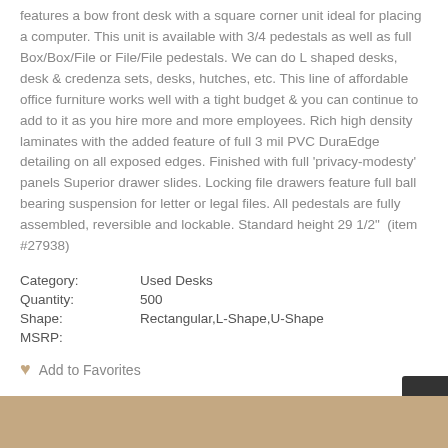features a bow front desk with a square corner unit ideal for placing a computer. This unit is available with 3/4 pedestals as well as full Box/Box/File or File/File pedestals. We can do L shaped desks, desk & credenza sets, desks, hutches, etc. This line of affordable office furniture works well with a tight budget & you can continue to add to it as you hire more and more employees. Rich high density laminates with the added feature of full 3 mil PVC DuraEdge detailing on all exposed edges. Finished with full 'privacy-modesty' panels Superior drawer slides. Locking file drawers feature full ball bearing suspension for letter or legal files. All pedestals are fully assembled, reversible and lockable. Standard height 29 1/2"  (item #27938)
| Field | Value |
| --- | --- |
| Category: | Used Desks |
| Quantity: | 500 |
| Shape: | Rectangular,L-Shape,U-Shape |
| MSRP: |  |
Add to Favorites